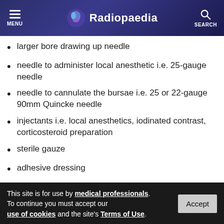Radiopaedia
larger bore drawing up needle
needle to administer local anesthetic i.e. 25-gauge needle
needle to cannulate the bursae i.e. 25 or 22-gauge 90mm Quincke needle
injectants i.e. local anesthetics, iodinated contrast, corticosteroid preparation
sterile gauze
adhesive dressing
Syringe selection
This site is for use by medical professionals. To continue you must accept our use of cookies and the site's Terms of Use.